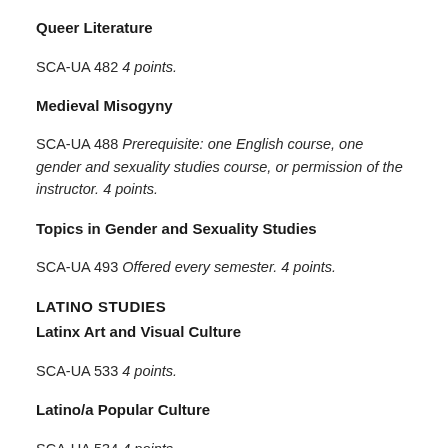Queer Literature
SCA-UA 482 4 points.
Medieval Misogyny
SCA-UA 488 Prerequisite: one English course, one gender and sexuality studies course, or permission of the instructor. 4 points.
Topics in Gender and Sexuality Studies
SCA-UA 493 Offered every semester. 4 points.
LATINO STUDIES
Latinx Art and Visual Culture
SCA-UA 533 4 points.
Latino/a Popular Culture
SCA-UA 534 4 points.